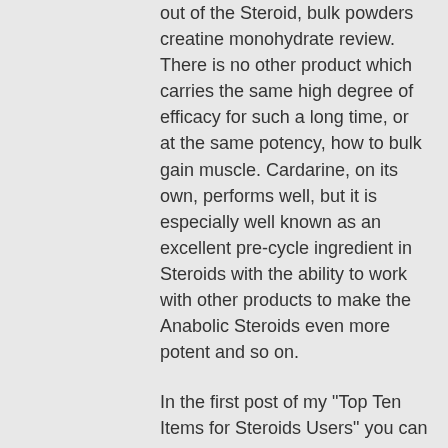out of the Steroid, bulk powders creatine monohydrate review. There is no other product which carries the same high degree of efficacy for such a long time, or at the same potency, how to bulk gain muscle. Cardarine, on its own, performs well, but it is especially well known as an excellent pre-cycle ingredient in Steroids with the ability to work with other products to make the Anabolic Steroids even more potent and so on.
In the first post of my "Top Ten Items for Steroids Users" you can find a section explaining how to combine Cardarine with Steroids to get a much richer and more potent Anabolic Steroids. Cardarine with Steroids is the best way of using Steroids on-cycle to get the most out of what Steroids can offer.
To help you more easily put this into practice